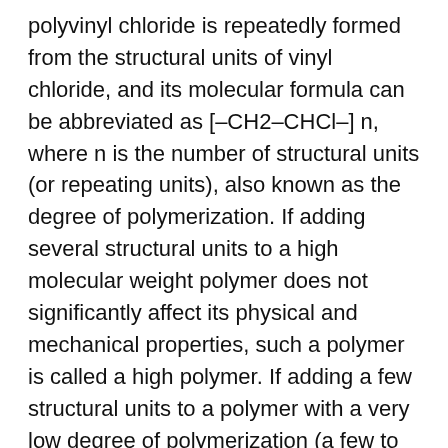polyvinyl chloride is repeatedly formed from the structural units of vinyl chloride, and its molecular formula can be abbreviated as [–CH2–CHCl–] n, where n is the number of structural units (or repeating units), also known as the degree of polymerization. If adding several structural units to a high molecular weight polymer does not significantly affect its physical and mechanical properties, such a polymer is called a high polymer. If adding a few structural units to a polymer with a very low degree of polymerization (a few to several tens) has a significant impact on its performance, this polymer is referred to as an oligomer.
Classification of polymers
1 According to the elemental composition of the main chain, polymers can be divided into three